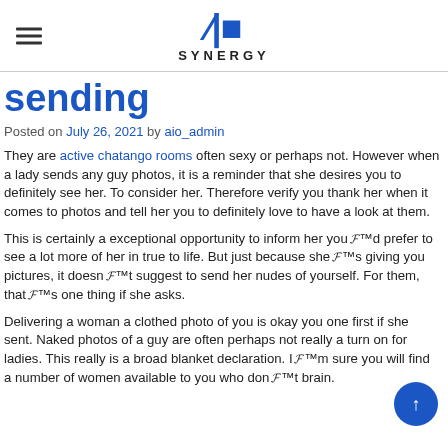AIO SYNERGY
sending
Posted on July 26, 2021 by aio_admin
They are active chatango rooms often sexy or perhaps not. However when a lady sends any guy photos, it is a reminder that she desires you to definitely see her. To consider her. Therefore verify you thank her when it comes to photos and tell her you to definitely love to have a look at them.
This is certainly a exceptional opportunity to inform her youвЂ™d prefer to see a lot more of her in true to life. But just because sheвЂ™s giving you pictures, it doesnвЂ™t suggest to send her nudes of yourself. For them, thatвЂ™s one thing if she asks.
Delivering a woman a clothed photo of you is okay you one first if she sent. Naked photos of a guy are often perhaps not really a turn on for ladies. This really is a broad blanket declaration. IвЂ™m sure you will find a number of women available to you who donвЂ™t brain.